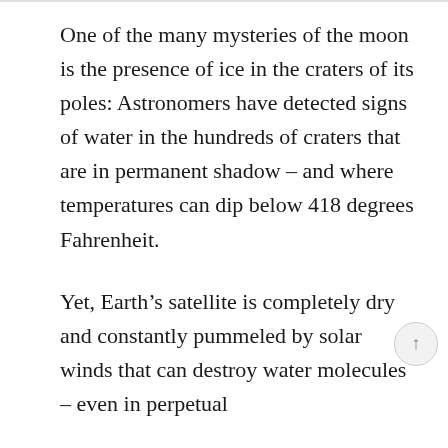One of the many mysteries of the moon is the presence of ice in the craters of its poles: Astronomers have detected signs of water in the hundreds of craters that are in permanent shadow – and where temperatures can dip below 418 degrees Fahrenheit.
Yet, Earth's satellite is completely dry and constantly pummeled by solar winds that can destroy water molecules – even in perpetual